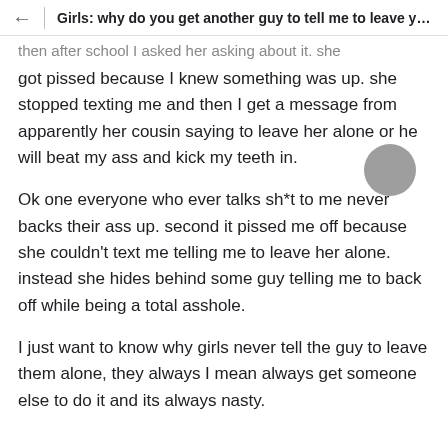Girls: why do you get another guy to tell me to leave yo...
then after school I asked her asking about it. she got pissed because I knew something was up. she stopped texting me and then I get a message from apparently her cousin saying to leave her alone or he will beat my ass and kick my teeth in.
Ok one everyone who ever talks sh*t to me never backs their ass up. second it pissed me off because she couldn't text me telling me to leave her alone. instead she hides behind some guy telling me to back off while being a total asshole.
I just want to know why girls never tell the guy to leave them alone, they always I mean always get someone else to do it and its always nasty.